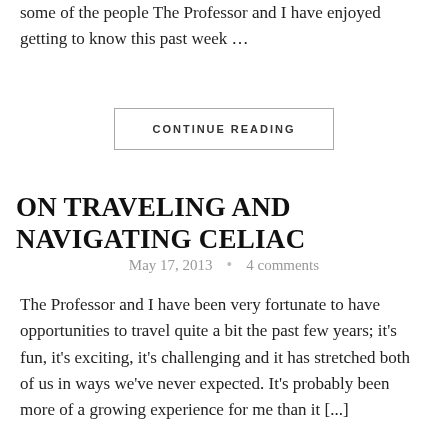some of the people The Professor and I have enjoyed getting to know this past week …
CONTINUE READING
ON TRAVELING AND NAVIGATING CELIAC
May 17, 2013 • 4 comments
The Professor and I have been very fortunate to have opportunities to travel quite a bit the past few years; it's fun, it's exciting, it's challenging and it has stretched both of us in ways we've never expected. It's probably been more of a growing experience for me than it [...]